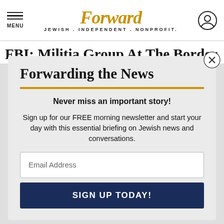MENU | Forward — JEWISH . INDEPENDENT . NONPROFIT.
FBI: Militia Group At The Border
Forwarding the News
Never miss an important story!
Sign up for our FREE morning newsletter and start your day with this essential briefing on Jewish news and conversations.
Email Address
SIGN UP TODAY!